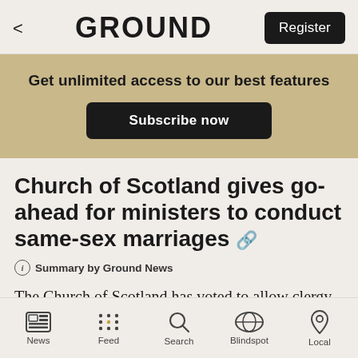< GROUND Register
Get unlimited access to our best features
Subscribe now
Church of Scotland gives go-ahead for ministers to conduct same-sex marriages 🔗
ⓘ Summary by Ground News
The Church of Scotland has voted to allow clergy
News  Feed  Search  Blindspot  Local